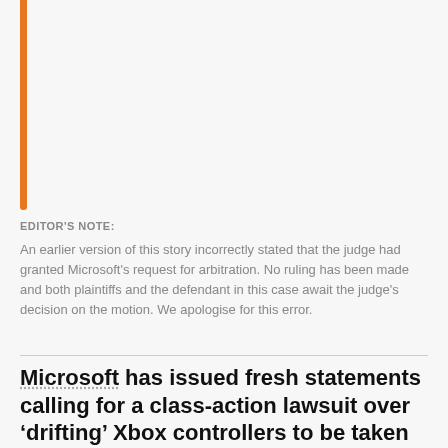EDITOR'S NOTE:
An earlier version of this story incorrectly stated that the judge had granted Microsoft's request for arbitration. No ruling has been made and both plaintiffs and the defendant in this case await the judge's decision on the motion. We apologise for this error.
Microsoft has issued fresh statements calling for a class-action lawsuit over 'drifting' Xbox controllers to be taken out of the courtroom, by compelling arbitration.
The lawsuit, filed in April last year, alleges that drifting issues